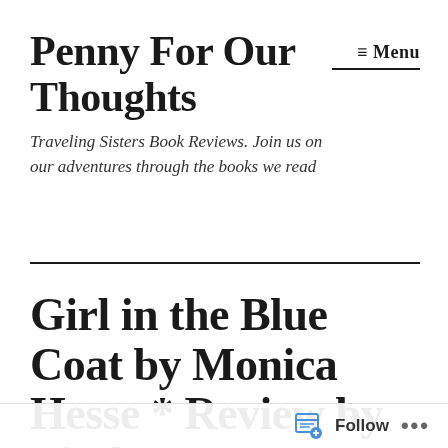Penny For Our Thoughts
Traveling Sisters Book Reviews. Join us on our adventures through the books we read
≡ Menu
Girl in the Blue Coat by Monica Hesse * Review by Lindsay
Follow ...